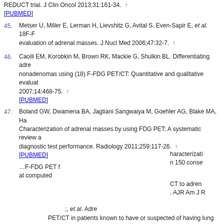REDUCT trial. J Clin Oncol 2013;31:161-34. [PUBMED]
45. Metser U, Miller E, Lerman H, Lievshitz G, Avital S, Even-Sapir E, et al. 18F-F evaluation of adrenal masses. J Nucl Med 2006;47:32-7. [PUBMED]
46. Caoili EM, Korobkin M, Brown RK, Mackie G, Shulkin BL. Differentiating adrenal nonadenomas using (18) F-FDG PET/CT: Quantitative and qualitative evaluation 2007;14:468-75. [PUBMED]
47. Boland GW, Dwamena BA, Jagtiani Sangwaiya M, Goehler AG, Blake MA, Ha Characterization of adrenal masses by using FDG PET: A systematic review a diagnostic test performance. Radiology 2011;259:117-26. [PUBMED]
This website uses cookies. By continuing to use this website you are giving consent to cookies being used. For information on cookies and how you can disable them visit our Privacy and Cookie Policy. AGREE & PROCEED